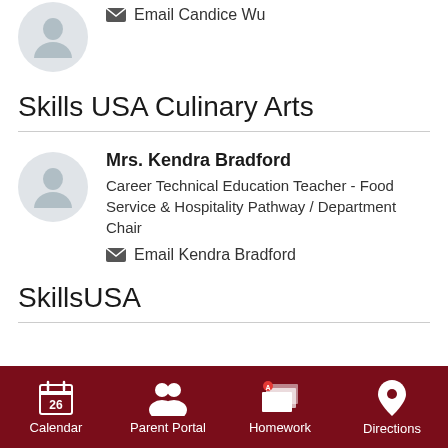Email Candice Wu
Skills USA Culinary Arts
Mrs. Kendra Bradford
Career Technical Education Teacher - Food Service & Hospitality Pathway / Department Chair
Email Kendra Bradford
SkillsUSA
Calendar  Parent Portal  Homework  Directions